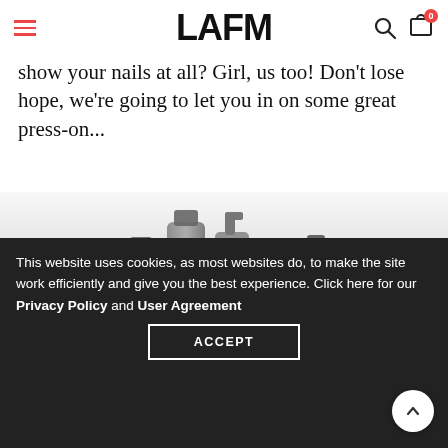LAFM
show your nails at all? Girl, us too! Don't lose hope, we're going to let you in on some great press-on...
[Figure (photo): A collection of beauty/skincare product bottles and tubes arranged in a row, shown in grayscale]
This website uses cookies, as most websites do, to make the site work efficiently and give you the best experience. Click here for our Privacy Policy and User Agreement